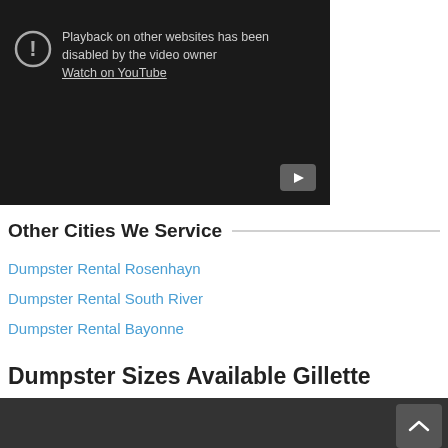[Figure (screenshot): YouTube video embed showing error: 'Playback on other websites has been disabled by the video owner' with a Watch on YouTube link and play button]
Other Cities We Service
Dumpster Rental Rosenhayn
Dumpster Rental South River
Dumpster Rental Bayonne
Dumpster Sizes Available Gillette
Get started in less than 60 seconds. Pick up the phone and get a quote now!
[Figure (screenshot): Bottom dark grey banner with scroll-to-top chevron button and partial text visible at bottom]